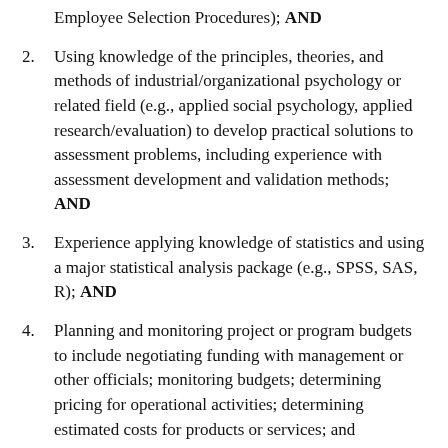Employee Selection Procedures); AND
2. Using knowledge of the principles, theories, and methods of industrial/organizational psychology or related field (e.g., applied social psychology, applied research/evaluation) to develop practical solutions to assessment problems, including experience with assessment development and validation methods; AND
3. Experience applying knowledge of statistics and using a major statistical analysis package (e.g., SPSS, SAS, R); AND
4. Planning and monitoring project or program budgets to include negotiating funding with management or other officials; monitoring budgets; determining pricing for operational activities; determining estimated costs for products or services; and managing resources to